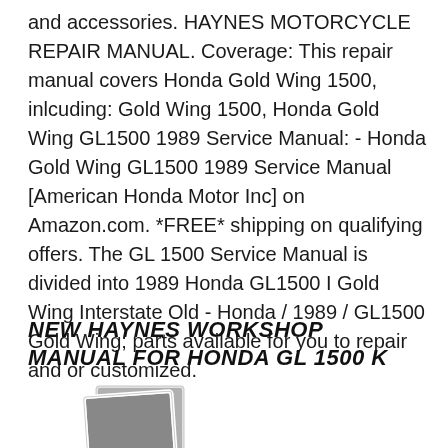and accessories. HAYNES MOTORCYCLE REPAIR MANUAL. Coverage: This repair manual covers Honda Gold Wing 1500, inlcuding: Gold Wing 1500, Honda Gold Wing GL1500 1989 Service Manual: - Honda Gold Wing GL1500 1989 Service Manual [American Honda Motor Inc] on Amazon.com. *FREE* shipping on qualifying offers. The GL 1500 Service Manual is divided into 1989 Honda GL1500 I Gold Wing Interstate Old - Honda / 1989 / GL1500 Gold Wing; parts available for you to repair and or customized.
NEW HAYNES WORKSHOP MANUAL FOR HONDA GL 1500 K
[Figure (photo): Placeholder image icon showing two overlapping photo thumbnails in gray tones]